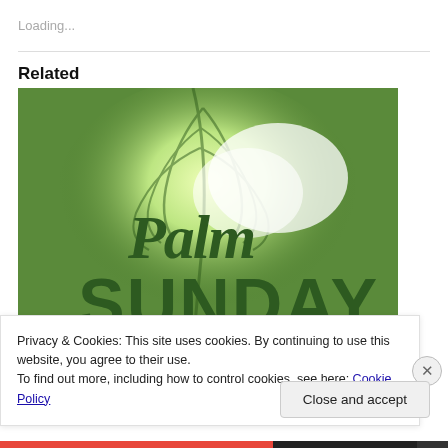Loading...
Related
[Figure (photo): Palm Sunday themed image with green palm leaves and stylized text reading 'Palm SUNDAY' in dark green lettering on a bright white/green background]
Privacy & Cookies: This site uses cookies. By continuing to use this website, you agree to their use.
To find out more, including how to control cookies, see here: Cookie Policy
Close and accept